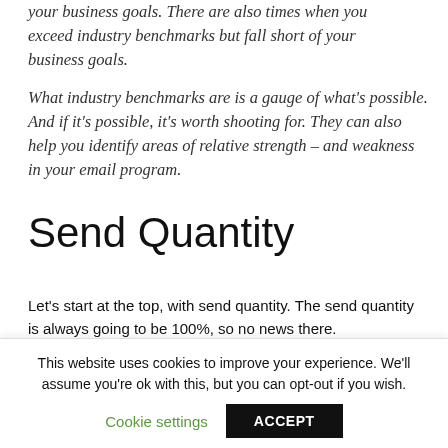your business goals. There are also times when you exceed industry benchmarks but fall short of your business goals.

What industry benchmarks are is a gauge of what's possible. And if it's possible, it's worth shooting for. They can also help you identify areas of relative strength – and weakness in your email program.
Send Quantity
Let's start at the top, with send quantity. The send quantity is always going to be 100%, so no news there.
Non-Bounce Sent
This website uses cookies to improve your experience. We'll assume you're ok with this, but you can opt-out if you wish.
Cookie settings   ACCEPT